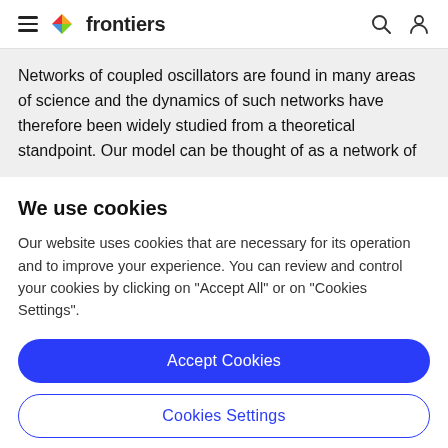frontiers
Networks of coupled oscillators are found in many areas of science and the dynamics of such networks have therefore been widely studied from a theoretical standpoint. Our model can be thought of as a network of
We use cookies
Our website uses cookies that are necessary for its operation and to improve your experience. You can review and control your cookies by clicking on "Accept All" or on "Cookies Settings".
Accept Cookies
Cookies Settings